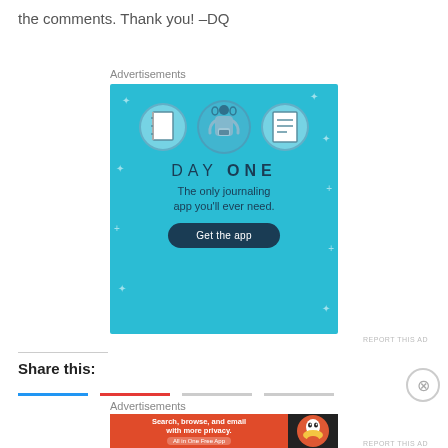the comments. Thank you! -DQ
Advertisements
[Figure (illustration): Day One journaling app advertisement with light blue background. Shows three circular icons (notebook, person with headphones using phone, list), DAY ONE text, tagline 'The only journaling app you'll ever need.' and a 'Get the app' button.]
REPORT THIS AD
Share this:
Advertisements
[Figure (illustration): DuckDuckGo advertisement. Orange left panel: 'Search, browse, and email with more privacy. All in One Free App'. Dark right panel with DuckDuckGo duck logo.]
REPORT THIS AD